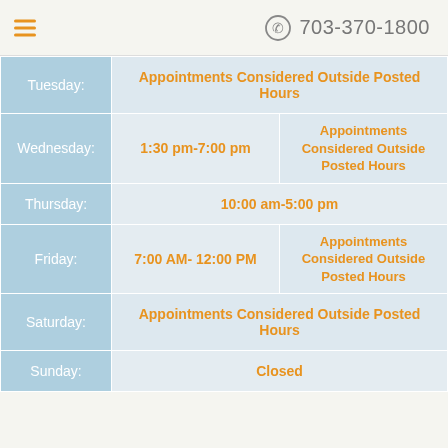703-370-1800
| Day | Hours | Notes |
| --- | --- | --- |
| Tuesday: | Appointments Considered Outside Posted Hours |  |
| Wednesday: | 1:30 pm-7:00 pm | Appointments Considered Outside Posted Hours |
| Thursday: | 10:00 am-5:00 pm |  |
| Friday: | 7:00 AM- 12:00 PM | Appointments Considered Outside Posted Hours |
| Saturday: | Appointments Considered Outside Posted Hours |  |
| Sunday: | Closed |  |